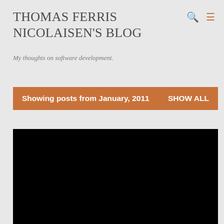THOMAS FERRIS NICOLAISEN'S BLOG
My thoughts on software development.
Showing posts from January, 2011   SHOW ALL
[Figure (photo): Black rectangular image area, likely a blog post thumbnail or video embed placeholder]